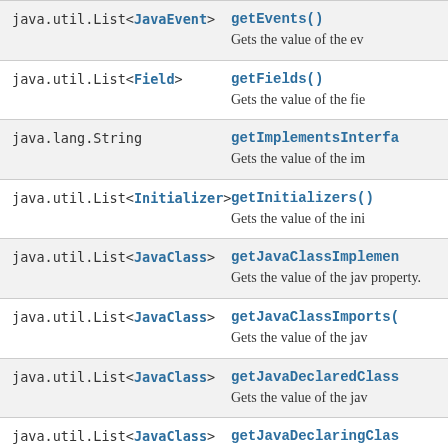| Type | Method and Description |
| --- | --- |
| java.util.List<JavaEvent> | getEvents()
Gets the value of the ev |
| java.util.List<Field> | getFields()
Gets the value of the fie |
| java.lang.String | getImplementsInterfa
Gets the value of the im |
| java.util.List<Initializer> | getInitializers()
Gets the value of the ini |
| java.util.List<JavaClass> | getJavaClassImplemen
Gets the value of the jav
property. |
| java.util.List<JavaClass> | getJavaClassImports(
Gets the value of the jav |
| java.util.List<JavaClass> | getJavaDeclaredClass
Gets the value of the jav |
| java.util.List<JavaClass> | getJavaDeclaringClas
Gets the value of the ja |